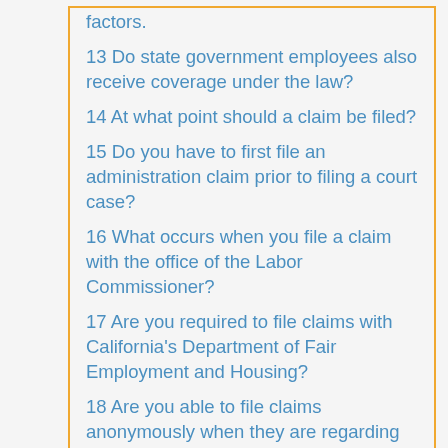factors.
13 Do state government employees also receive coverage under the law?
14 At what point should a claim be filed?
15 Do you have to first file an administration claim prior to filing a court case?
16 What occurs when you file a claim with the office of the Labor Commissioner?
17 Are you required to file claims with California's Department of Fair Employment and Housing?
18 Are you able to file claims anonymously when they are regarding the Equal Pay Laws? Can you file in a group?
19 What do you receive when you win a